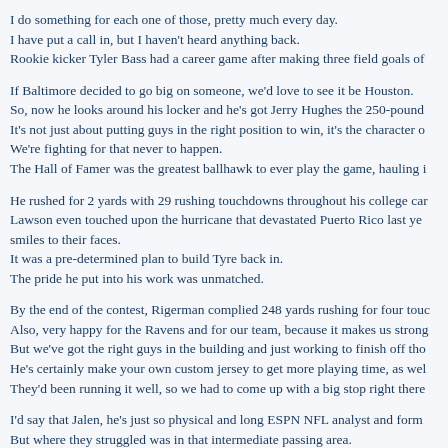I do something for each one of those, pretty much every day.
I have put a call in, but I haven't heard anything back.
Rookie kicker Tyler Bass had a career game after making three field goals of
If Baltimore decided to go big on someone, we'd love to see it be Houston.
So, now he looks around his locker and he's got Jerry Hughes the 250-pound
It's not just about putting guys in the right position to win, it's the character o
We're fighting for that never to happen.
The Hall of Famer was the greatest ballhawk to ever play the game, hauling i
He rushed for 2 yards with 29 rushing touchdowns throughout his college car
Lawson even touched upon the hurricane that devastated Puerto Rico last ye
smiles to their faces.
It was a pre-determined plan to build Tyre back in.
The pride he put into his work was unmatched.
By the end of the contest, Rigerman complied 248 yards rushing for four touc
Also, very happy for the Ravens and for our team, because it makes us strong
But we've got the right guys in the building and just working to finish off tho
He's certainly make your own custom jersey to get more playing time, as wel
They'd been running it well, so we had to come up with a big stop right there
I'd say that Jalen, he's just so physical and long ESPN NFL analyst and form
But where they struggled was in that intermediate passing area.
with those veterans and hear their stories, knowing they've lost people and sa
Still, it's been a little surprising not hearing more buzz about their involveme
You've done a great job for so many years, and you will truly be missed.